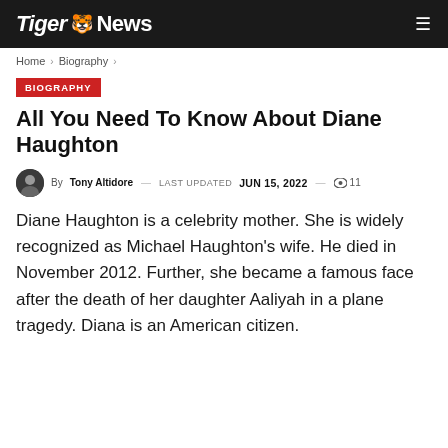Tiger News
Home > Biography >
BIOGRAPHY
All You Need To Know About Diane Haughton
By Tony Altidore — LAST UPDATED JUN 15, 2022 — 11
Diane Haughton is a celebrity mother. She is widely recognized as Michael Haughton's wife. He died in November 2012. Further, she became a famous face after the death of her daughter Aaliyah in a plane tragedy. Diana is an American citizen.